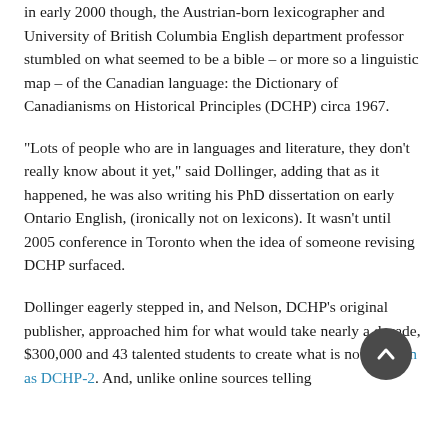in early 2000 though, the Austrian-born lexicographer and University of British Columbia English department professor stumbled on what seemed to be a bible – or more so a linguistic map – of the Canadian language: the Dictionary of Canadianisms on Historical Principles (DCHP) circa 1967.
“Lots of people who are in languages and literature, they don’t really know about it yet,” said Dollinger, adding that as it happened, he was also writing his PhD dissertation on early Ontario English, (ironically not on lexicons). It wasn’t until 2005 conference in Toronto when the idea of someone revising DCHP surfaced.
Dollinger eagerly stepped in, and Nelson, DCHP’s original publisher, approached him for what would take nearly a decade, $300,000 and 43 talented students to create what is now known as DCHP-2. And, unlike online sources telling